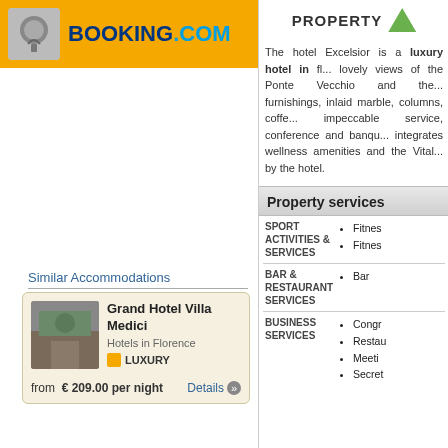[Figure (logo): Booking.com logo on yellow banner background with luggage tag icon]
Similar Accommodations
[Figure (other): Grand Hotel Villa Medici hotel card with thumbnail image, Hotels in Florence, LUXURY badge, price from €209.00 per night, Details button]
PROPERTY
The hotel Excelsior is a luxury hotel in ... lovely views of the Ponte Vecchio and the... furnishings, inlaid marble, columns, coffe... impeccable service, conference and banqu... integrates wellness amenities and the Vital... by the hotel.
Property services
SPORT ACTIVITIES & SERVICES
Fitnes
Fitnes
BAR & RESTAURANT SERVICES
Bar
BUSINESS SERVICES
Congr
Restau
Meeti
Secret